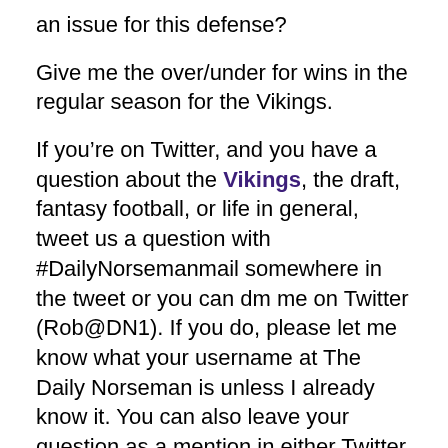an issue for this defense?
Give me the over/under for wins in the regular season for the Vikings.
If you’re on Twitter, and you have a question about the Vikings, the draft, fantasy football, or life in general, tweet us a question with #DailyNorsemanmail somewhere in the tweet or you can dm me on Twitter (Rob@DN1). If you do, please let me know what your username at The Daily Norseman is unless I already know it. You can also leave your question as a mention in either Twitter account.
Preferably, you can leave a comment in this post, I’ll revisit it later in the week.
If you’re like me and hate social media, drop me an